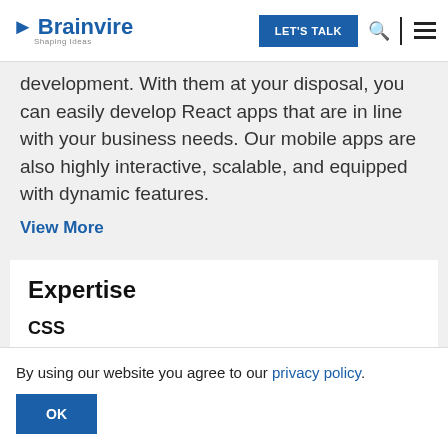Brainvire Shaping Ideas | LET'S TALK
development. With them at your disposal, you can easily develop React apps that are in line with your business needs. Our mobile apps are also highly interactive, scalable, and equipped with dynamic features.
View More
Expertise
CSS
By using our website you agree to our privacy policy.
OK